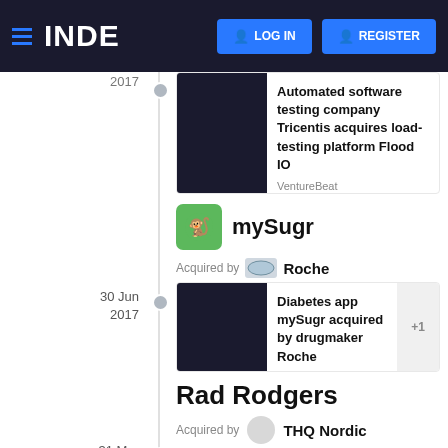INDE  LOG IN  REGISTER
2017
Automated software testing company Tricentis acquires load-testing platform Flood IO
VentureBeat
mySugr
Acquired by Roche
30 Jun
2017
Diabetes app mySugr acquired by drugmaker Roche
Tech.eu
+1
Rad Rodgers
Acquired by THQ Nordic
31 Mar
2017
THQ Nordic acquires the retro action-